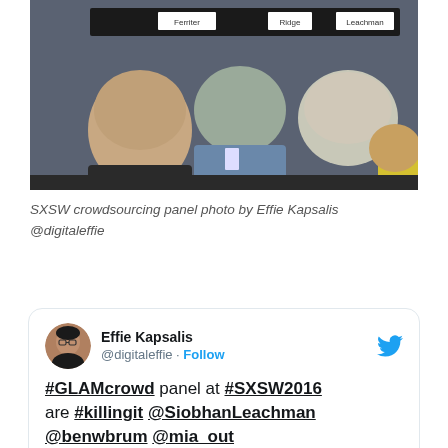[Figure (photo): Photo of SXSW crowdsourcing panel audience seen from behind, with name placards reading Ferriter, Ridge, and Leachman visible on a table at the front]
SXSW crowdsourcing panel photo by Effie Kapsalis @digitaleffie
[Figure (screenshot): Tweet by Effie Kapsalis (@digitaleffie) with Follow button and Twitter bird logo. Tweet text: #GLAMcrowd panel at #SXSW2016 are #killingit @SiobhanLeachman @benwbrum @mia_out @MeghaninMotion. Miss u @VLeachman]